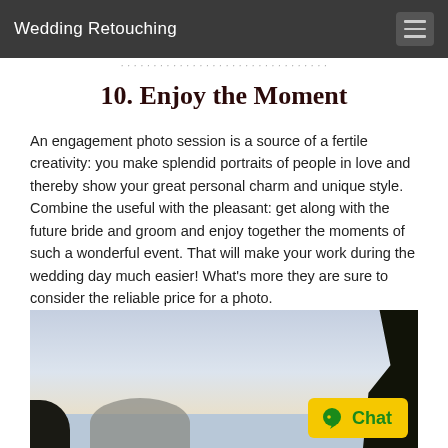Wedding Retouching
10.  Enjoy the Moment
An engagement photo session is a source of a fertile creativity: you make splendid portraits of people in love and thereby show your great personal charm and unique style. Combine the useful with the pleasant: get along with the future bride and groom and enjoy together the moments of such a wonderful event. That will make your work during the wedding day much easier! What’s more they are sure to consider the reliable price for a photo.
[Figure (photo): Outdoor photo showing a sky background with silhouetted trees on the right and a dark foreground, with a partially visible round figure/hat at the bottom center. A yellow chat button overlay is visible in the bottom-right corner.]